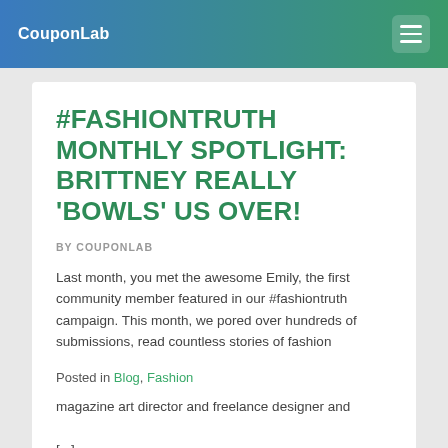CouponLab
#FASHIONTRUTH MONTHLY SPOTLIGHT: BRITTNEY REALLY 'BOWLS' US OVER!
BY COUPONLAB
Last month, you met the awesome Emily, the first community member featured in our #fashiontruth campaign. This month, we pored over hundreds of submissions, read countless stories of fashion fearlessness, and made our choice… Meet Brittney, the face of this month's #fashiontruth spotlight! Brittney is a magazine art director and freelance designer and illustrator in Jonesboro, Arkansas. She loves squirrels, [...]
Posted in Blog, Fashion